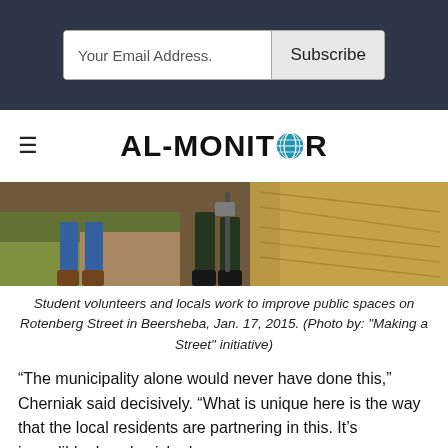[Figure (screenshot): Email subscribe bar with 'Your Email Address.' input and 'Subscribe' button on dark background]
[Figure (logo): AL-MONITOR logo with globe icon replacing the 'O']
[Figure (photo): Student volunteers and locals working to improve public spaces on Rotenberg Street in Beersheba, showing people with tools near mulch/straw, Jan. 17, 2015]
Student volunteers and locals work to improve public spaces on Rotenberg Street in Beersheba, Jan. 17, 2015. (Photo by: "Making a Street" initiative)
“The municipality alone would never have done this,” Cherniak said decisively. “What is unique here is the way that the local residents are partnering in this. It’s incredible. Locals picked